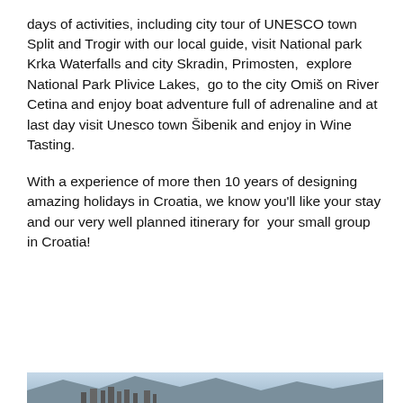days of activities, including city tour of UNESCO town Split and Trogir with our local guide, visit National park Krka Waterfalls and city Skradin, Primosten, explore National Park Plivice Lakes, go to the city Omiš on River Cetina and enjoy boat adventure full of adrenaline and at last day visit Unesco town Šibenik and enjoy in Wine Tasting.
With a experience of more then 10 years of designing amazing holidays in Croatia, we know you'll like your stay and our very well planned itinerary for your small group in Croatia!
| Itinerary | Accommodation | Prices & Dates | Enquire |
| --- | --- | --- | --- |
| Itinerary | Accommodation |
| Prices & Dates | Enquire |
[Figure (photo): Partial view of a coastal city with mountains in the background, blue sky]